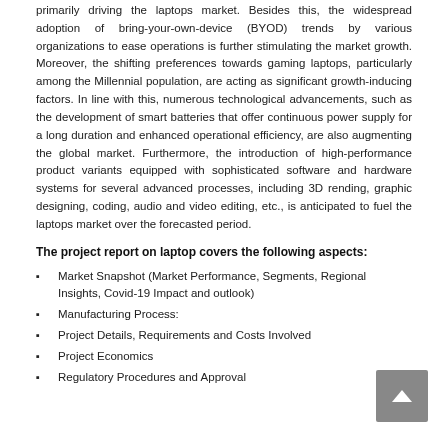primarily driving the laptops market. Besides this, the widespread adoption of bring-your-own-device (BYOD) trends by various organizations to ease operations is further stimulating the market growth. Moreover, the shifting preferences towards gaming laptops, particularly among the Millennial population, are acting as significant growth-inducing factors. In line with this, numerous technological advancements, such as the development of smart batteries that offer continuous power supply for a long duration and enhanced operational efficiency, are also augmenting the global market. Furthermore, the introduction of high-performance product variants equipped with sophisticated software and hardware systems for several advanced processes, including 3D rending, graphic designing, coding, audio and video editing, etc., is anticipated to fuel the laptops market over the forecasted period.
The project report on laptop covers the following aspects:
Market Snapshot (Market Performance, Segments, Regional Insights, Covid-19 Impact and outlook)
Manufacturing Process:
Project Details, Requirements and Costs Involved
Project Economics
Regulatory Procedures and Approval